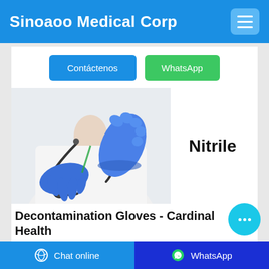Sinoaoo Medical Corp
Contáctenos
WhatsApp
[Figure (photo): Healthcare professional wearing blue nitrile gloves with a stethoscope around neck, putting on gloves]
Nitrile
Decontamination Gloves - Cardinal Health
Cardinal Health™ Nitrile Decontamination exam gloves are non-sterile, powder-free, and
Chat online   WhatsApp